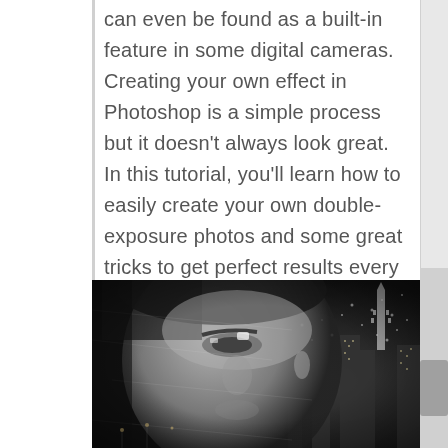can even be found as a built-in feature in some digital cameras. Creating your own effect in Photoshop is a simple process but it doesn't always look great. In this tutorial, you'll learn how to easily create your own double-exposure photos and some great tricks to get perfect results every time.
[Figure (photo): A black and white double-exposure photograph showing a woman's face overlaid with a city skyline at night (New York City with the Chrysler Building visible).]